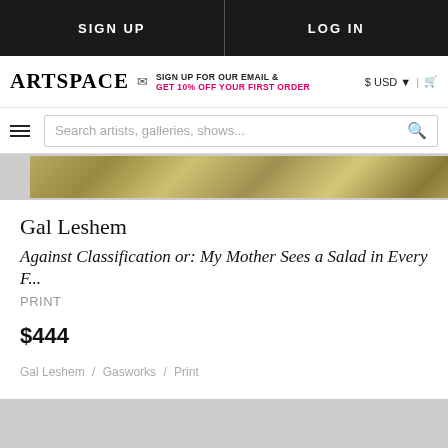SIGN UP | LOG IN
ARTSPACE | SIGN UP FOR OUR EMAIL & GET 10% OFF YOUR FIRST ORDER | $ USD | cart
Search artists, galleries, shows...
[Figure (photo): Partial view of artwork print showing green/yellow botanical illustration]
Gal Leshem
Against Classification or: My Mother Sees a Salad in Every F...
PRINT
$444
Gal Leshem / Gasworks / Print